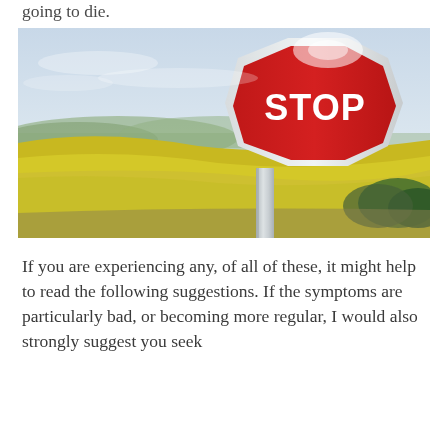going to die.
[Figure (photo): A red STOP sign on a metal post set against a rural landscape with yellow fields (likely rapeseed/canola) and a cloudy sky in the background.]
If you are experiencing any, of all of these, it might help to read the following suggestions. If the symptoms are particularly bad, or becoming more regular, I would also strongly suggest you seek